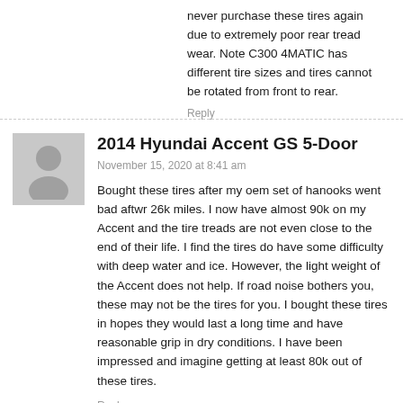never purchase these tires again due to extremely poor rear tread wear. Note C300 4MATIC has different tire sizes and tires cannot be rotated from front to rear.
Reply
[Figure (illustration): Gray avatar placeholder icon showing a silhouette of a person]
2014 Hyundai Accent GS 5-Door
November 15, 2020 at 8:41 am
Bought these tires after my oem set of hanooks went bad aftwr 26k miles. I now have almost 90k on my Accent and the tire treads are not even close to the end of their life. I find the tires do have some difficulty with deep water and ice. However, the light weight of the Accent does not help. If road noise bothers you, these may not be the tires for you. I bought these tires in hopes they would last a long time and have reasonable grip in dry conditions. I have been impressed and imagine getting at least 80k out of these tires.
Reply